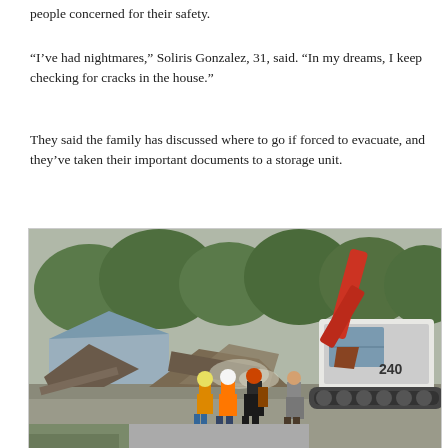people concerned for their safety.
“I’ve had nightmares,” Soliris Gonzalez, 31, said. “In my dreams, I keep checking for cracks in the house.”
They said the family has discussed where to go if forced to evacuate, and they’ve taken their important documents to a storage unit.
[Figure (photo): Workers in safety vests and hard hats standing near a demolished house being torn down by a large red and white excavator (marked 240). Trees visible in background. Debris and collapsed structure visible.]